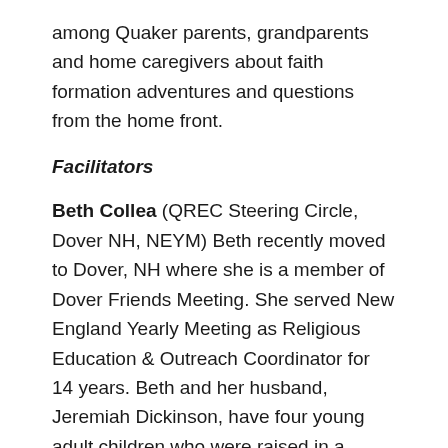among Quaker parents, grandparents and home caregivers about faith formation adventures and questions from the home front.
Facilitators
Beth Collea (QREC Steering Circle, Dover NH, NEYM) Beth recently moved to Dover, NH where she is a member of Dover Friends Meeting. She served New England Yearly Meeting as Religious Education & Outreach Coordinator for 14 years. Beth and her husband, Jeremiah Dickinson, have four young adult children who were raised in a blended family.